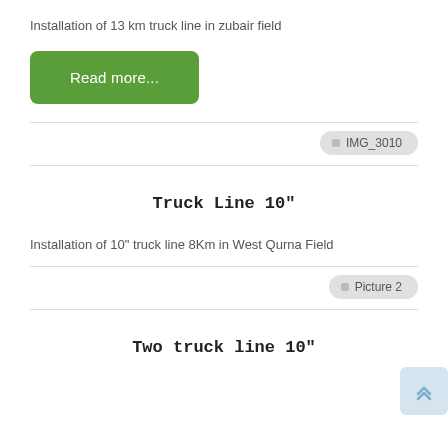Installation of 13 km truck line in zubair field
Read more...
Truck Line 10"
[Figure (screenshot): IMG_3010 image label badge]
Installation of 10" truck line 8Km in West Qurna Field
Two truck line 10"
[Figure (screenshot): Picture 2 image label badge]